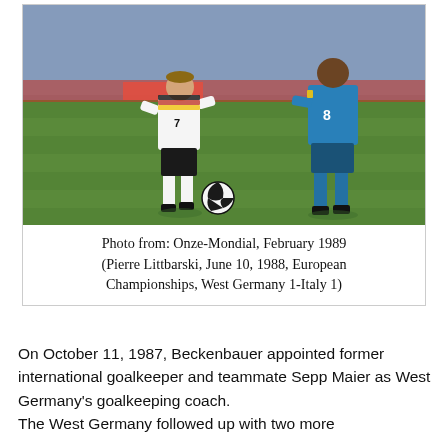[Figure (photo): Two soccer players on a green field. Player in white West Germany jersey with number 7 dribbling, facing a player in blue Italy jersey with number 8. A soccer ball is visible on the ground.]
Photo from: Onze-Mondial, February 1989 (Pierre Littbarski, June 10, 1988, European Championships, West Germany 1-Italy 1)
On October 11, 1987, Beckenbauer appointed former international goalkeeper and teammate Sepp Maier as West Germany's goalkeeping coach.
The West Germany followed up with two more...